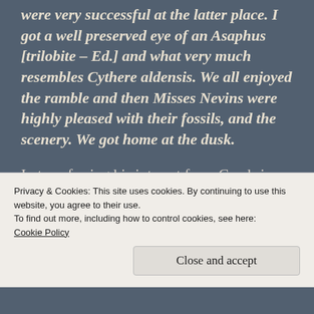were very successful at the latter place. I got a well preserved eye of an Asaphus [trilobite – Ed.] and what very much resembles Cythere aldensis. We all enjoyed the ramble and then Misses Nevins were highly pleased with their fossils, and the scenery. We got home at the dusk.
In transferring his interest from Cambrian and Silurian fossils to the influence of the action of Ice Age on the landscape, Ruddy was turning his attention from a period about 450 million
Privacy & Cookies: This site uses cookies. By continuing to use this website, you agree to their use.
To find out more, including how to control cookies, see here:
Cookie Policy
Close and accept